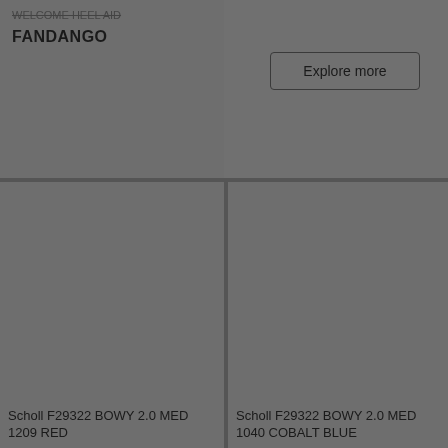FANDANGO
Explore more
Scholl F29322 BOWY 2.0 MED 1209 RED
Scholl F29322 BOWY 2.0 MED 1040 COBALT BLUE